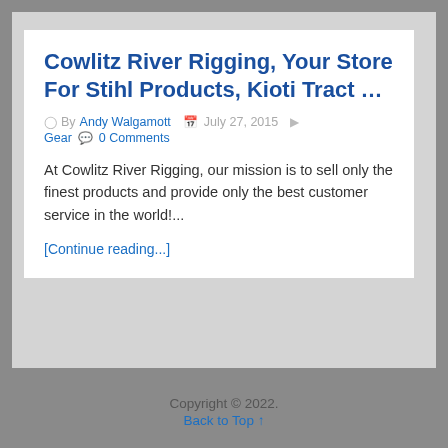Cowlitz River Rigging, Your Store For Stihl Products, Kioti Tract …
By Andy Walgamott   July 27, 2015   Gear   0 Comments
At Cowlitz River Rigging, our mission is to sell only the finest products and provide only the best customer service in the world!...
[Continue reading...]
Copyright © 2022.
Back to Top ↑